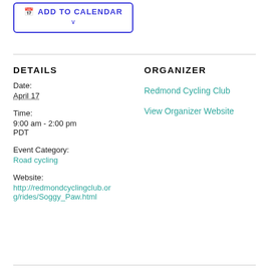[Figure (other): Add to Calendar button with dropdown arrow, blue border and text]
DETAILS
Date:
April 17
Time:
9:00 am - 2:00 pm PDT
Event Category:
Road cycling
Website:
http://redmondcyclingclub.org/rides/Soggy_Paw.html
ORGANIZER
Redmond Cycling Club
View Organizer Website